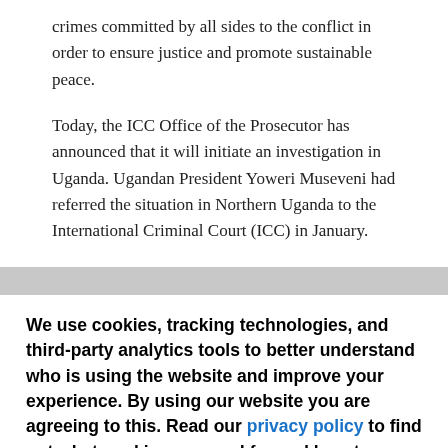crimes committed by all sides to the conflict in order to ensure justice and promote sustainable peace.
Today, the ICC Office of the Prosecutor has announced that it will initiate an investigation in Uganda. Ugandan President Yoweri Museveni had referred the situation in Northern Uganda to the International Criminal Court (ICC) in January.
We use cookies, tracking technologies, and third-party analytics tools to better understand who is using the website and improve your experience. By using our website you are agreeing to this. Read our privacy policy to find out what cookies are used for and how to change your settings.
Accept
Other options